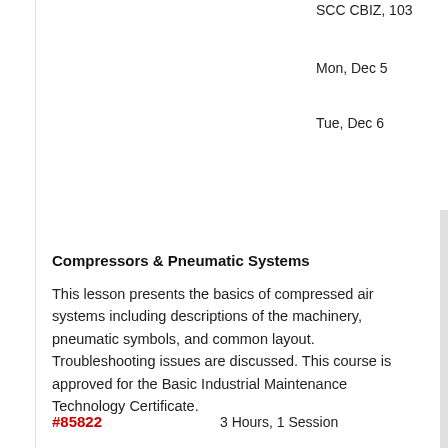SCC CBIZ, 103
Mon, Dec 5
Tue, Dec 6
Compressors & Pneumatic Systems
This lesson presents the basics of compressed air systems including descriptions of the machinery, pneumatic symbols, and common layout. Troubleshooting issues are discussed. This course is approved for the Basic Industrial Maintenance Technology Certificate.
#85822   3 Hours, 1 Session